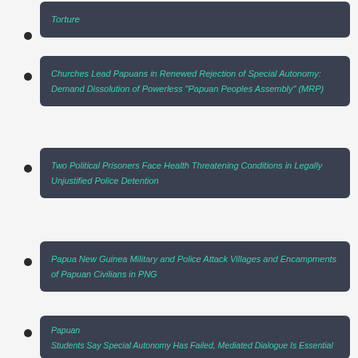Torture
Churches Lead Papuans in Renewed Rejection of Special Autonomy: Demand Dissolution of Powerless "Papuan Peoples Assembly" (MRP)
Two Political Prisoners Face Health Threatening Conditions in Legally Unjustified Police Detention
Papua New Guinea Military and Police Attack Villages and Encampments of Papuan Civilians in PNG
Papuan Students Say Special Autonomy Has Failed, Mediated Dialogue Is Essential
No Justice for Papuan Victims of Torture